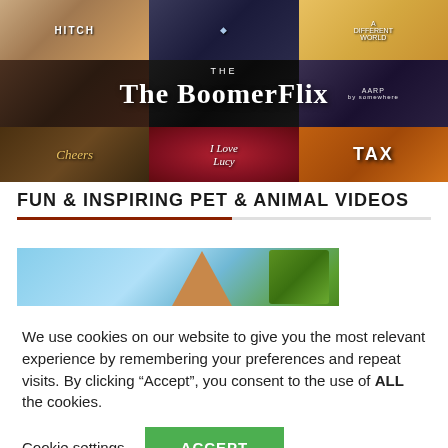[Figure (screenshot): BoomerFlix website screenshot showing a 3x3 grid of TV show thumbnails including Hitch, a blue-tinted film noir show, A Different World, a 1970s drama, The BoomerFlix logo overlay, an AARP show, Cheers, I Love Lucy, and Taxi.]
FUN & INSPIRING PET & ANIMAL VIDEOS
[Figure (photo): A partial photo showing a blue sky background with green foliage on the right and what appears to be an animal (possibly a dog) partially visible at the bottom center.]
We use cookies on our website to give you the most relevant experience by remembering your preferences and repeat visits. By clicking “Accept”, you consent to the use of ALL the cookies.
Cookie settings
ACCEPT